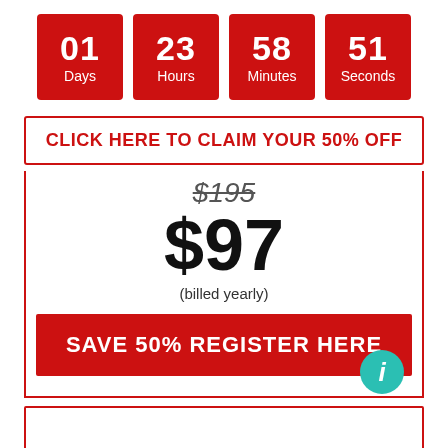[Figure (infographic): Countdown timer showing 01 Days, 23 Hours, 58 Minutes, 51 Seconds in red boxes]
CLICK HERE TO CLAIM YOUR 50% OFF
$195 (strikethrough) $97 (billed yearly)
SAVE 50% REGISTER HERE